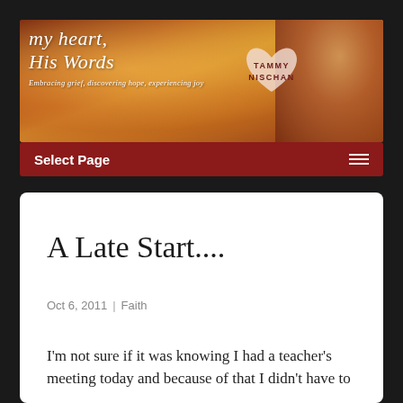[Figure (illustration): Website banner for 'my heart, His Words' blog by Tammy Nischan. Bokeh warm orange/red background with script text 'my heart, His Words', a heart shape with 'TAMMY NISCHAN' inside, tagline 'Embracing grief, discovering hope, experiencing joy', and a photo of a smiling woman on the right.]
Select Page ≡
A Late Start....
Oct 6, 2011 | Faith
I'm not sure if it was knowing I had a teacher's meeting today and because of that I didn't have to